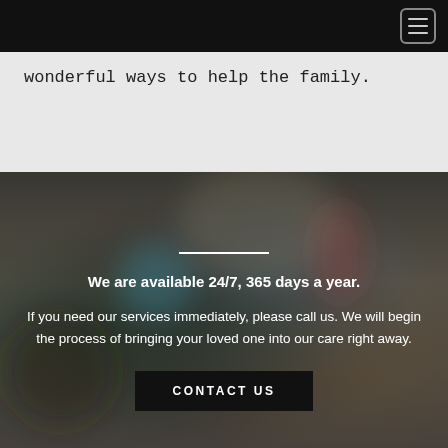wonderful ways to help the family.
[Figure (photo): Blurred background photo of a crowd, possibly at a ceremony or gathering, with colored balloons visible. Overlaid with dark translucent overlay.]
We are available 24/7, 365 days a year.
If you need our services immediately, please call us. We will begin the process of bringing your loved one into our care right away.
CONTACT US